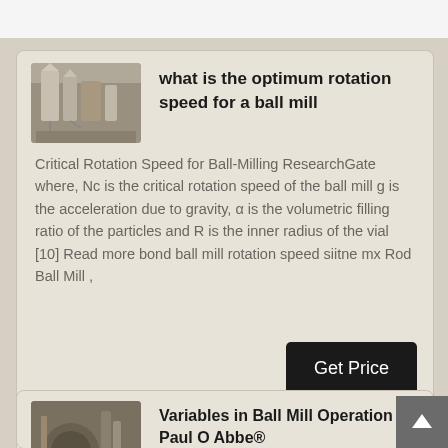[Figure (photo): Thumbnail photo of industrial ball mill equipment with silos and machinery]
what is the optimum rotation speed for a ball mill
Critical Rotation Speed for Ball-Milling ResearchGate where, Nc is the critical rotation speed of the ball mill g is the acceleration due to gravity, α is the volumetric filling ratio of the particles and R is the inner radius of the vial [10] Read more bond ball mill rotation speed siitne mx Rod Ball Mill ,
[Figure (photo): Thumbnail photo of industrial ball mill machinery]
Variables in Ball Mill Operation | Paul O Abbe®